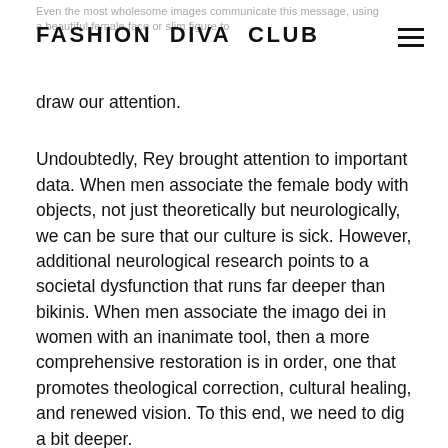FASHION DIVA CLUB
Even the most wholesome images communicate this message, using a beautiful female face or slim figure to draw our attention.
Undoubtedly, Rey brought attention to important data. When men associate the female body with objects, not just theoretically but neurologically, we can be sure that our culture is sick. However, additional neurological research points to a societal dysfunction that runs far deeper than bikinis. When men associate the imago dei in women with an inanimate tool, then a more comprehensive restoration is in order, one that promotes theological correction, cultural healing, and renewed vision. To this end, we need to dig a bit deeper.
As the lucky child of an airline pilot, Michelle embarked